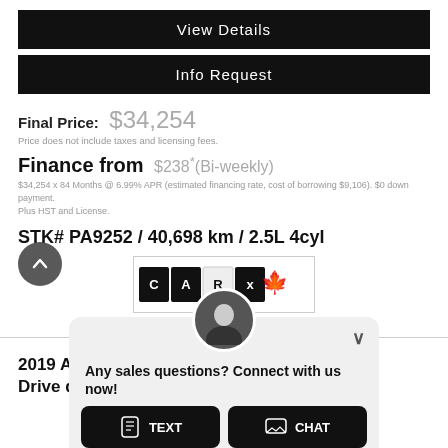View Details
Info Request
Final Price: $34,254
Price does not include taxes and licensing fees.
Finance from $238* (Bi-weekly)
$34,254 x 84 Months @ 6.99% APR (estimated financing rate, cost of borrowing $9,106). $0 down payment. Plus HST and License.
STK# PA9252 / 40,698 km / 2.5L 4cyl
[Figure (logo): CARFAX Canada logo with maple leaf, VI... text]
2019 A... el Drive qu...
Any sales questions? Connect with us now!
TEXT
CHAT